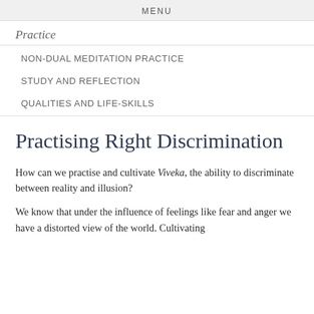MENU
Practice
NON-DUAL MEDITATION PRACTICE
STUDY AND REFLECTION
QUALITIES AND LIFE-SKILLS
Practising Right Discrimination
How can we practise and cultivate Viveka, the ability to discriminate between reality and illusion?
We know that under the influence of feelings like fear and anger we have a distorted view of the world. Cultivating